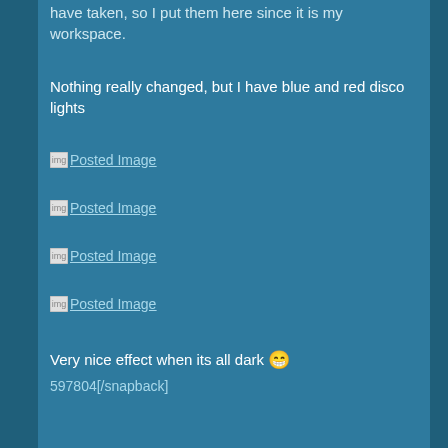have taken, so I put them here since it is my workspace.
Nothing really changed, but I have blue and red disco lights
[Figure (illustration): Broken image placeholder with link text 'Posted Image']
[Figure (illustration): Broken image placeholder with link text 'Posted Image']
[Figure (illustration): Broken image placeholder with link text 'Posted Image']
[Figure (illustration): Broken image placeholder with link text 'Posted Image']
Very nice effect when its all dark 😁
597804[/snapback]